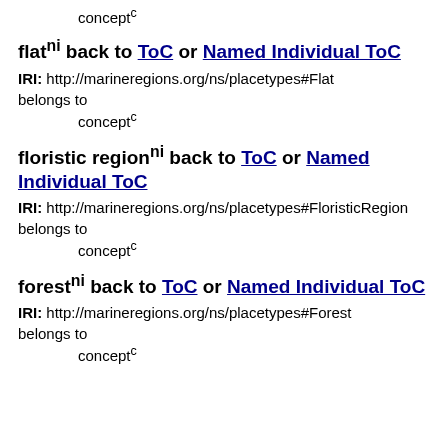concept^c
flat^ni back to ToC or Named Individual ToC
IRI: http://marineregions.org/ns/placetypes#Flat
belongs to
concept^c
floristic region^ni back to ToC or Named Individual ToC
IRI: http://marineregions.org/ns/placetypes#FloristicRegion
belongs to
concept^c
forest^ni back to ToC or Named Individual ToC
IRI: http://marineregions.org/ns/placetypes#Forest
belongs to
concept^c